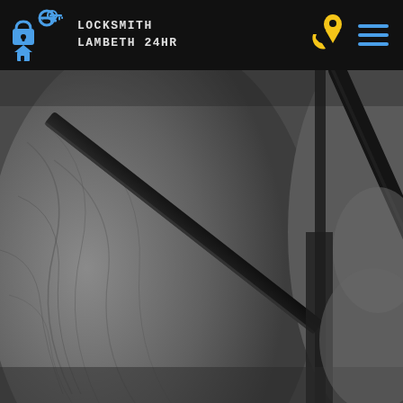[Figure (logo): Locksmith Lambeth 24HR logo with blue key, lock and house icons on black header background]
[Figure (photo): Close-up black and white photograph of a car door being unlocked with a slim jim tool inserted between the door and frame, showing automotive locksmith work]